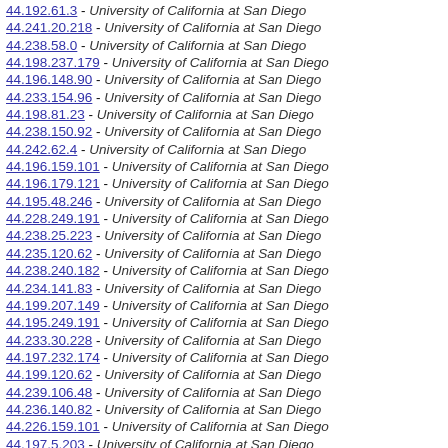44.192.61.3 - University of California at San Diego
44.241.20.218 - University of California at San Diego
44.238.58.0 - University of California at San Diego
44.198.237.179 - University of California at San Diego
44.196.148.90 - University of California at San Diego
44.233.154.96 - University of California at San Diego
44.198.81.23 - University of California at San Diego
44.238.150.92 - University of California at San Diego
44.242.62.4 - University of California at San Diego
44.196.159.101 - University of California at San Diego
44.196.179.121 - University of California at San Diego
44.195.48.246 - University of California at San Diego
44.228.249.191 - University of California at San Diego
44.238.25.223 - University of California at San Diego
44.235.120.62 - University of California at San Diego
44.238.240.182 - University of California at San Diego
44.234.141.83 - University of California at San Diego
44.199.207.149 - University of California at San Diego
44.195.249.191 - University of California at San Diego
44.233.30.228 - University of California at San Diego
44.197.232.174 - University of California at San Diego
44.199.120.62 - University of California at San Diego
44.239.106.48 - University of California at San Diego
44.236.140.82 - University of California at San Diego
44.226.159.101 - University of California at San Diego
44.197.5.203 - University of California at San Diego
44.195.20.218 - University of California at San Diego
44.241.51.249 - University of California at San Diego
44.198.203.145 - University of California at San Diego
44.233.197.139 - University of California at San Diego